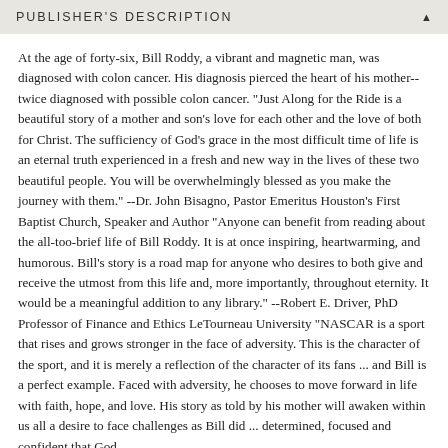PUBLISHER'S DESCRIPTION
At the age of forty-six, Bill Roddy, a vibrant and magnetic man, was diagnosed with colon cancer. His diagnosis pierced the heart of his mother--twice diagnosed with possible colon cancer. "Just Along for the Ride is a beautiful story of a mother and son's love for each other and the love of both for Christ. The sufficiency of God's grace in the most difficult time of life is an eternal truth experienced in a fresh and new way in the lives of these two beautiful people. You will be overwhelmingly blessed as you make the journey with them." --Dr. John Bisagno, Pastor Emeritus Houston's First Baptist Church, Speaker and Author "Anyone can benefit from reading about the all-too-brief life of Bill Roddy. It is at once inspiring, heartwarming, and humorous. Bill's story is a road map for anyone who desires to both give and receive the utmost from this life and, more importantly, throughout eternity. It would be a meaningful addition to any library." --Robert E. Driver, PhD Professor of Finance and Ethics LeTourneau University "NASCAR is a sport that rises and grows stronger in the face of adversity. This is the character of the sport, and it is merely a reflection of the character of its fans ... and Bill is a perfect example. Faced with adversity, he chooses to move forward in life with faith, hope, and love. His story as told by his mother will awaken within us all a desire to face challenges as Bill did ... determined, focused and confident that God